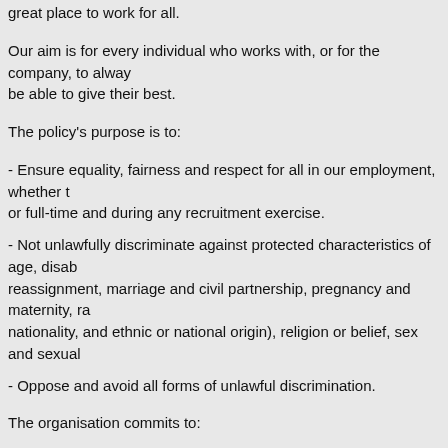great place to work for all.
Our aim is for every individual who works with, or for the company, to always be able to give their best.
The policy's purpose is to:
- Ensure equality, fairness and respect for all in our employment, whether t or full-time and during any recruitment exercise.
- Not unlawfully discriminate against protected characteristics of age, disab reassignment, marriage and civil partnership, pregnancy and maternity, ra nationality, and ethnic or national origin), religion or belief, sex and sexual
- Oppose and avoid all forms of unlawful discrimination.
The organisation commits to:
- Ensuring equality, diversity and inclusion in the workplace as they are go business sense and are the right thing to do.
- A working environment free of bullying, harassment, victimisation and dis dignity and respect for all, and where individual differences and the contrib recognised and valued.
- Ensuring all team members understand their personal responsibilities an policy.
- Take seriously complaints of bullying, harassment, victimisation and unla follow employees, suppliers, visitors, the public and any others in the w